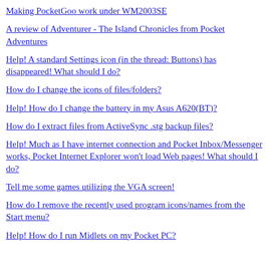Making PocketGoo work under WM2003SE
A review of Adventurer - The Island Chronicles from Pocket Adventures
Help! A standard Settings icon (in the thread: Buttons) has disappeared! What should I do?
How do I change the icons of files/folders?
Help! How do I change the battery in my Asus A620(BT)?
How do I extract files from ActiveSync .stg backup files?
Help! Much as I have internet connection and Pocket Inbox/Messenger works, Pocket Internet Explorer won't load Web pages! What should I do?
Tell me some games utilizing the VGA screen!
How do I remove the recently used program icons/names from the Start menu?
Help! How do I run Midlets on my Pocket PC?